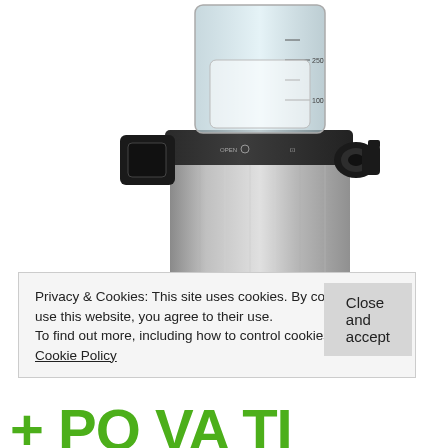[Figure (photo): Close-up photograph of a slow juicer / cold press juicer machine. The body is stainless steel silver, with a black top section containing a transparent hopper/bowl and measurement markings. Black control knobs and a spout are visible on the sides.]
Privacy & Cookies: This site uses cookies. By continuing to use this website, you agree to their use.
To find out more, including how to control cookies, see here: Cookie Policy
Close and accept
+ PO VA TI